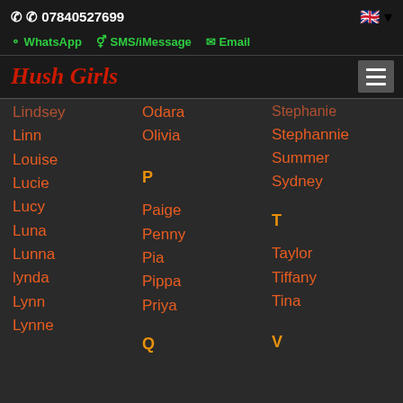07840527699
WhatsApp   SMS/iMessage   Email
Hush Girls
Lindsey
Linn
Louise
Lucie
Lucy
Luna
Lunna
lynda
Lynn
Lynne
Odara
Olivia
P
Paige
Penny
Pia
Pippa
Priya
Q
Stephanie
Stephannie
Summer
Sydney
T
Taylor
Tiffany
Tina
V